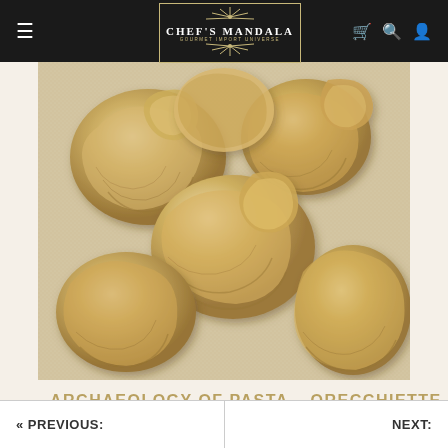Chef's Mandala – Gourmet Import Universe
[Figure (photo): Close-up photo of orecchiette pasta pieces arranged on a floured surface, showing their characteristic ear-shaped concave form with ridged texture]
ARCHAEOLOGY OF PASTA – Orecchiette
« PREVIOUS:    NEXT: